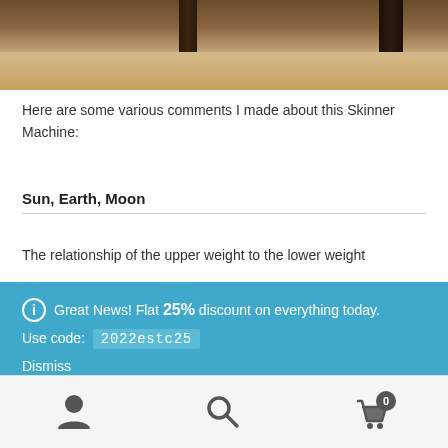[Figure (photo): Close-up photo of what appears to be a wooden Skinner Machine, showing dark vertical bars/rods against a light wood background]
Here are some various comments I made about this Skinner Machine:
Sun, Earth, Moon
The relationship of the upper weight to the lower weight
ℹ Great News! Flat 25% discount on everything today. Use code: 2022estc25 Dismiss
Navigation bar with user icon, search icon, and cart icon (0 items)